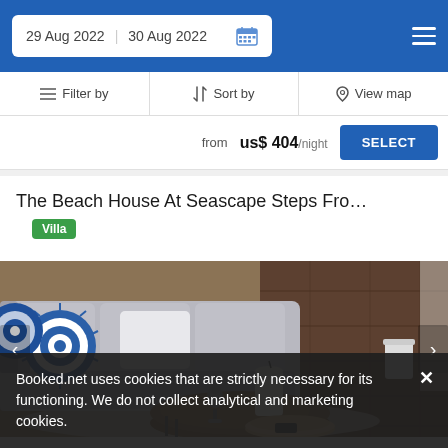29 Aug 2022  30 Aug 2022
Filter by  |  Sort by  |  View map
from us$ 404/night  SELECT
The Beach House At Seascape Steps Fro…
Villa
[Figure (photo): Interior of a beach house living room with grey sofa, blue patterned cushions, and a round wooden coffee table with a white candle, small bird sculpture, and woven tray]
Booked.net uses cookies that are strictly necessary for its functioning. We do not collect analytical and marketing cookies.